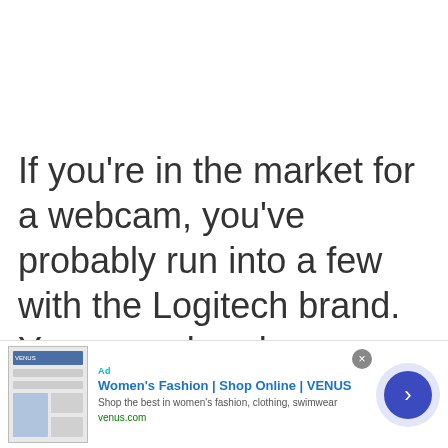If you're in the market for a webcam, you've probably run into a few with the Logitech brand. You may already own one and if you don't, you're probably considering Logitech as an option.
I'm here to push you over the edge of the
[Figure (screenshot): Advertisement banner for VENUS Women's Fashion online shop, showing a fashion website screenshot thumbnail on the left, ad title 'Women's Fashion | Shop Online | VENUS', description 'Shop the best in women's fashion, clothing, swimwear', URL 'venus.com', a close button (X), and a blue circular arrow button on the right.]